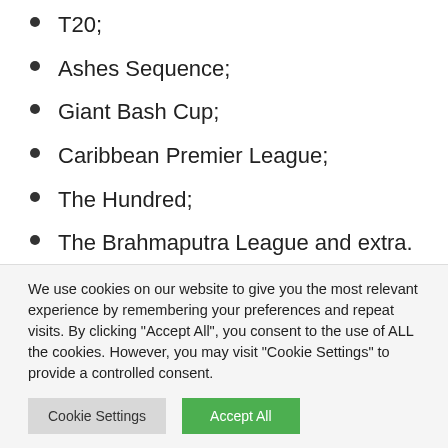T20;
Ashes Sequence;
Giant Bash Cup;
Caribbean Premier League;
The Hundred;
The Brahmaputra League and extra.
Every of the chosen contests has a various roster.
We use cookies on our website to give you the most relevant experience by remembering your preferences and repeat visits. By clicking "Accept All", you consent to the use of ALL the cookies. However, you may visit "Cookie Settings" to provide a controlled consent.